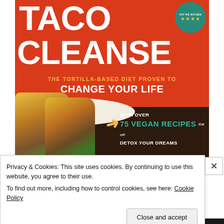[Figure (photo): Book cover of 'The Taco Cleanse: The Tortilla-Based Diet Proven to Change Your Life' with over 75 vegan recipes that will detox your dreams. Red background with white bold text, tacos on a plate, dark brown bottom section, teal badge in top right corner.]
Privacy & Cookies: This site uses cookies. By continuing to use this website, you agree to their use.
To find out more, including how to control cookies, see here: Cookie Policy
Close and accept